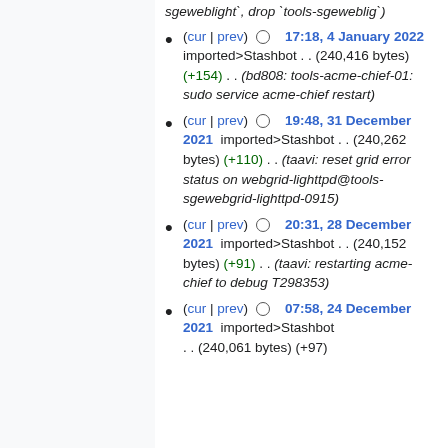(cur | prev) 17:18, 4 January 2022  imported>Stashbot . . (240,416 bytes) (+154) . . (bd808: tools-acme-chief-01: sudo service acme-chief restart)
(cur | prev) 19:48, 31 December 2021  imported>Stashbot . . (240,262 bytes) (+110) . . (taavi: reset grid error status on webgrid-lighttpd@tools-sgewebgrid-lighttpd-0915)
(cur | prev) 20:31, 28 December 2021  imported>Stashbot . . (240,152 bytes) (+91) . . (taavi: restarting acme-chief to debug T298353)
(cur | prev) 07:58, 24 December 2021  imported>Stashbot . . (240,061 bytes) (+97)